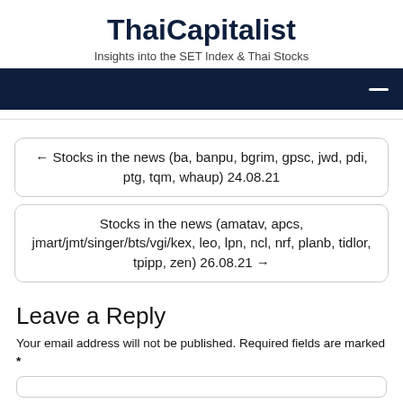ThaiCapitalist
Insights into the SET Index & Thai Stocks
navigation bar
← Stocks in the news (ba, banpu, bgrim, gpsc, jwd, pdi, ptg, tqm, whaup) 24.08.21
Stocks in the news (amatav, apcs, jmart/jmt/singer/bts/vgi/kex, leo, lpn, ncl, nrf, planb, tidlor, tpipp, zen) 26.08.21 →
Leave a Reply
Your email address will not be published. Required fields are marked *